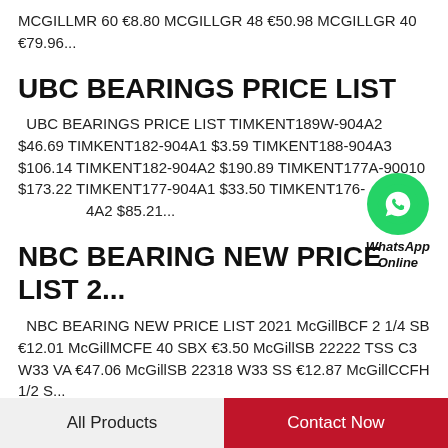MCGILLMR 60 €8.80 MCGILLGR 48 €50.98 MCGILLGR 40 €79.96...
UBC BEARINGS PRICE LIST
UBC BEARINGS PRICE LIST TIMKENT189W-904A2 $46.69 TIMKENT182-904A1 $3.59 TIMKENT188-904A3 $106.14 TIMKENT182-904A2 $190.89 TIMKENT177A-90010 $173.22 TIMKENT177-904A1 $33.50 TIMKENT176-904A2 $85.21...
[Figure (illustration): WhatsApp green chat bubble icon with text 'WhatsApp Online' below]
NBC BEARING NEW PRICE LIST 2...
NBC BEARING NEW PRICE LIST 2021 McGillBCF 2 1/4 SB €12.01 McGillMCFE 40 SBX €3.50 McGillSB 22222 TSS C3 W33 VA €47.06 McGillSB 22318 W33 SS €12.87 McGillCCFH 1/2 S...
All Products    Contact Now